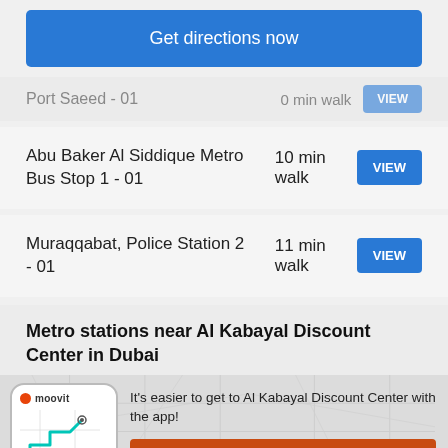Get directions now
Port Saeed - 01   0 min walk   VIEW
Abu Baker Al Siddique Metro Bus Stop 1 - 01   10 min walk   VIEW
Muraqqabat, Police Station 2 - 01   11 min walk   VIEW
Metro stations near Al Kabayal Discount Center in Dubai
[Figure (screenshot): Moovit app phone mockup with teal route line on a map]
It's easier to get to Al Kabayal Discount Center with the app!
Get the App